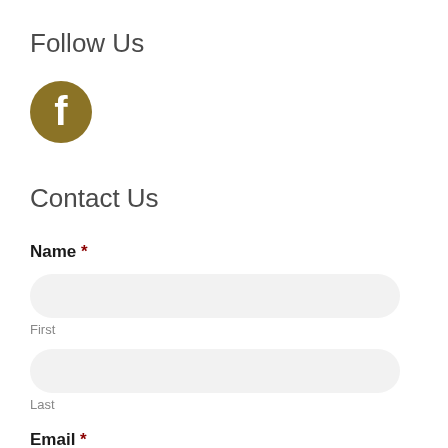Follow Us
[Figure (logo): Facebook icon — circular dark golden/olive brown background with white 'f' logo]
Contact Us
Name *
First
Last
Email *